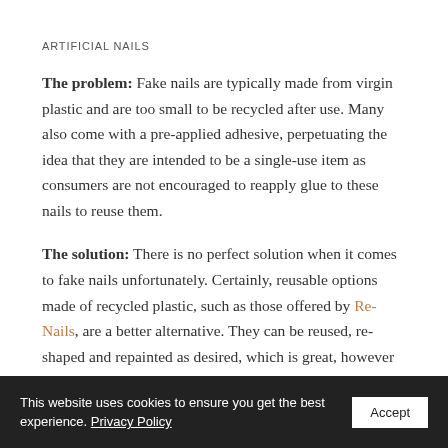ARTIFICIAL NAILS
The problem: Fake nails are typically made from virgin plastic and are too small to be recycled after use. Many also come with a pre-applied adhesive, perpetuating the idea that they are intended to be a single-use item as consumers are not encouraged to reapply glue to these nails to reuse them.
The solution: There is no perfect solution when it comes to fake nails unfortunately. Certainly, reusable options made of recycled plastic, such as those offered by Re-Nails, are a better alternative. They can be reused, re-shaped and repainted as desired, which is great, however these little rectangles of plastic still end up as waste at the end of the
This website uses cookies to ensure you get the best experience. Privacy Policy Accept